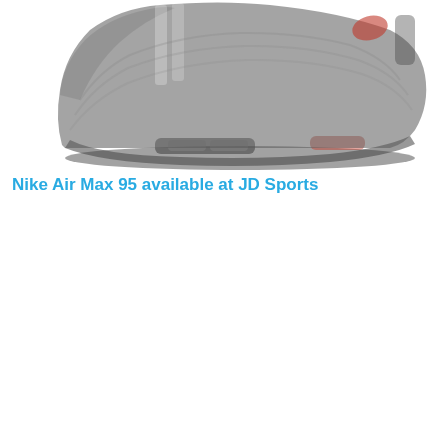[Figure (photo): Side profile of a dark grey/black Nike Air Max 95 sneaker with a small red Swoosh logo and visible Air unit on the sole, shown on a white background with a faded/muted appearance.]
Nike Air Max 95 available at JD Sports